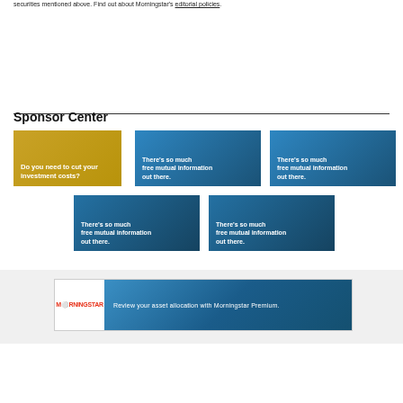securities mentioned above. Find out about Morningstar's editorial policies.
Sponsor Center
[Figure (infographic): Gold banner ad: Do you need to cut your investment costs?]
[Figure (infographic): Blue banner ad: There's so much free mutual information out there.]
[Figure (infographic): Blue banner ad: There's so much free mutual information out there.]
[Figure (infographic): Blue banner ad: There's so much free mutual information out there.]
[Figure (infographic): Blue banner ad: There's so much free mutual information out there.]
[Figure (infographic): Morningstar Premium ad: Review your asset allocation with Morningstar Premium.]